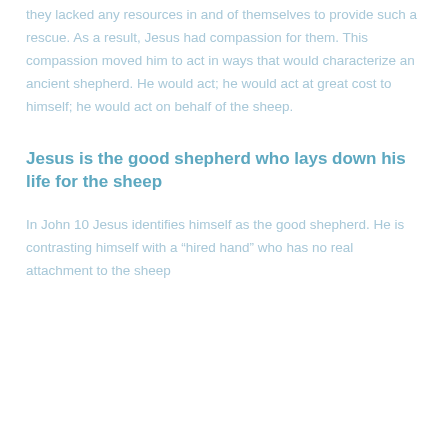they lacked any resources in and of themselves to provide such a rescue. As a result, Jesus had compassion for them. This compassion moved him to act in ways that would characterize an ancient shepherd. He would act; he would act at great cost to himself; he would act on behalf of the sheep.
Jesus is the good shepherd who lays down his life for the sheep
In John 10 Jesus identifies himself as the good shepherd. He is contrasting himself with a “hired hand” who has no real attachment to the sheep